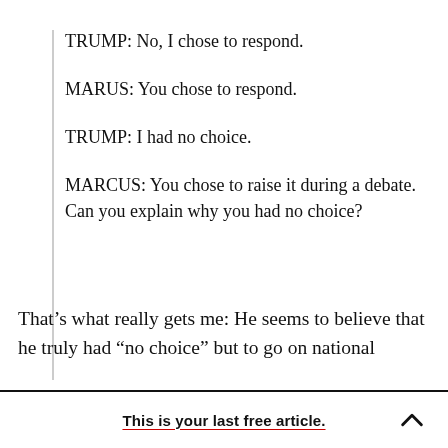TRUMP: No, I chose to respond.
MARUS: You chose to respond.
TRUMP: I had no choice.
MARCUS: You chose to raise it during a debate. Can you explain why you had no choice?
That’s what really gets me: He seems to believe that he truly had “no choice” but to go on national
This is your last free article.